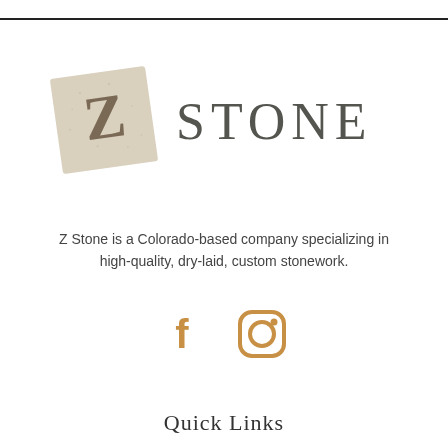[Figure (logo): Z Stone company logo: a beige/tan tilted square tile with a brown letter Z on it, followed by the text STONE in large serif letters]
Z Stone is a Colorado-based company specializing in high-quality, dry-laid, custom stonework.
[Figure (infographic): Social media icons: Facebook (f) and Instagram (camera) icons in golden/amber color]
Quick Links